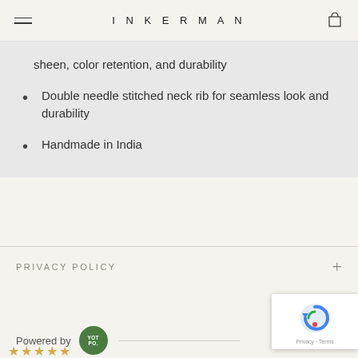INKERMAN
sheen, color retention, and durability
Double needle stitched neck rib for seamless look and durability
Handmade in India
PRIVACY POLICY
Powered by YOTPO
[Figure (logo): reCAPTCHA logo with Privacy and Terms links]